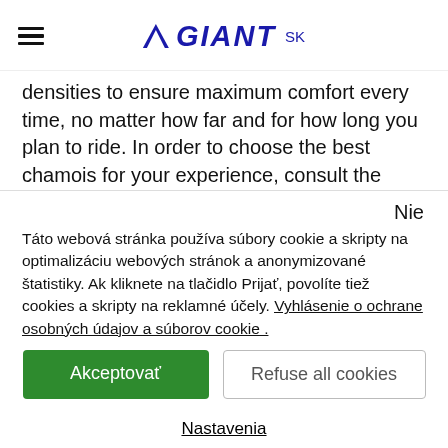GIANT SK
densities to ensure maximum comfort every time, no matter how far and for how long you plan to ride. In order to choose the best chamois for your experience, consult the chart below to see which chamois suits your ride best and then put on your bibs of choice and
Nie
Táto webová stránka používa súbory cookie a skripty na optimalizáciu webových stránok a anonymizované štatistiky. Ak kliknete na tlačidlo Prijať, povolíte tiež cookies a skripty na reklamné účely. Vyhlásenie o ochrane osobných údajov a súborov cookie .
Akceptovať
Refuse all cookies
Nastavenia